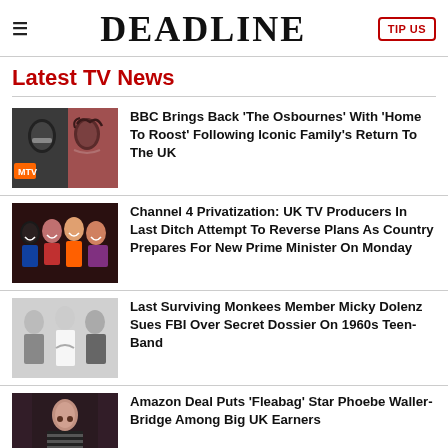DEADLINE | TIP US
Latest TV News
[Figure (photo): Photo of two people, one wearing sunglasses (appears to be Ozzy Osbourne) and a woman next to him]
BBC Brings Back 'The Osbournes' With 'Home To Roost' Following Iconic Family's Return To The UK
[Figure (photo): Photo of a group of young people laughing and posing together, colorful clothing]
Channel 4 Privatization: UK TV Producers In Last Ditch Attempt To Reverse Plans As Country Prepares For New Prime Minister On Monday
[Figure (photo): Black and white photo of three people posing together]
Last Surviving Monkees Member Micky Dolenz Sues FBI Over Secret Dossier On 1960s Teen-Band
[Figure (photo): Photo of a woman in a striped outfit looking downward in a dimly lit setting]
Amazon Deal Puts 'Fleabag' Star Phoebe Waller-Bridge Among Big UK Earners